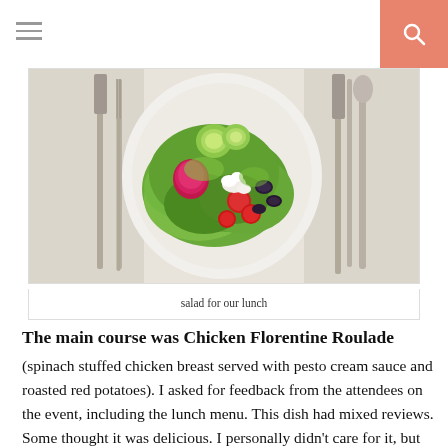[Figure (photo): Overhead photo of a white plate with a green salad containing cucumber slices, cherry tomatoes, olives, feta cheese, and mixed greens, placed on a white tablecloth with silverware visible on both sides.]
salad for our lunch
The main course was Chicken Florentine Roulade
(spinach stuffed chicken breast served with pesto cream sauce and roasted red potatoes). I asked for feedback from the attendees on the event, including the lunch menu. This dish had mixed reviews. Some thought it was delicious. I personally didn't care for it, but loved the salad and the